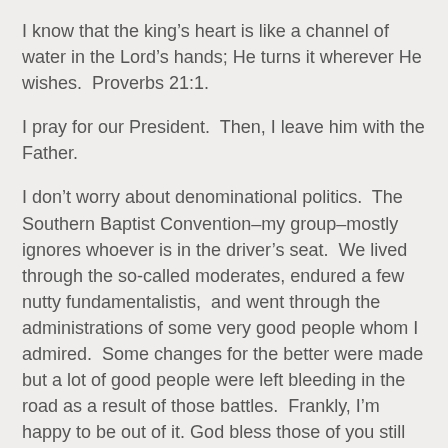I know that the king’s heart is like a channel of water in the Lord’s hands; He turns it wherever He wishes.  Proverbs 21:1.
I pray for our President.  Then, I leave him with the Father.
I don’t worry about denominational politics.  The Southern Baptist Convention–my group–mostly ignores whoever is in the driver’s seat.  We lived through the so-called moderates, endured a few nutty fundamentalistis,  and went through the administrations of some very good people whom I admired.  Some changes for the better were made but a lot of good people were left bleeding in the road as a result of those battles.  Frankly, I’m happy to be out of it. God bless those of you still on the front line.
When I was a young preacher, I felt I should have an answer for every question people asked.